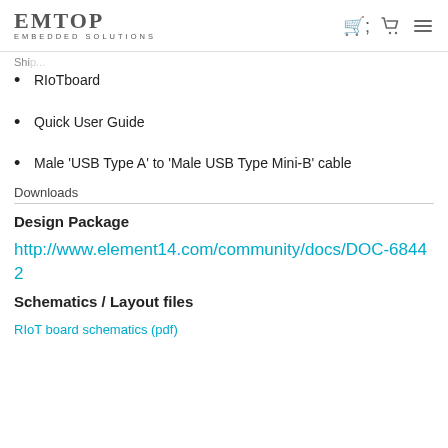EMTOP EMBEDDED SOLUTIONS
RIoTboard
Quick User Guide
Male 'USB Type A' to 'Male USB Type Mini-B' cable
Downloads
Design Package
http://www.element14.com/community/docs/DOC-68442
Schematics / Layout files
RIoT board schematics (pdf)